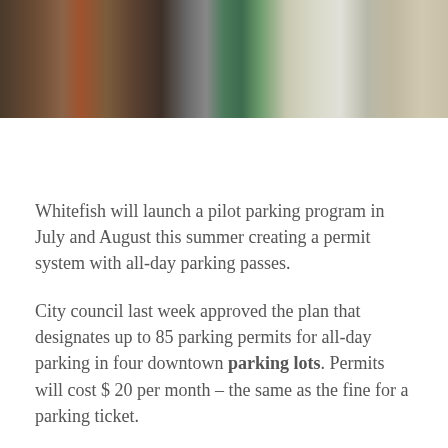[Figure (photo): Street scene showing parked vehicles and a green lamp post on a downtown sidewalk]
Whitefish will launch a pilot parking program in July and August this summer creating a permit system with all-day parking passes.
City council last week approved the plan that designates up to 85 parking permits for all-day parking in four downtown parking lots. Permits will cost $ 20 per month – the same as the fine for a parking ticket.
Councilor Rebecca Norton said she hopes the pilot program will provide data on how it is functioning, especially ahead of